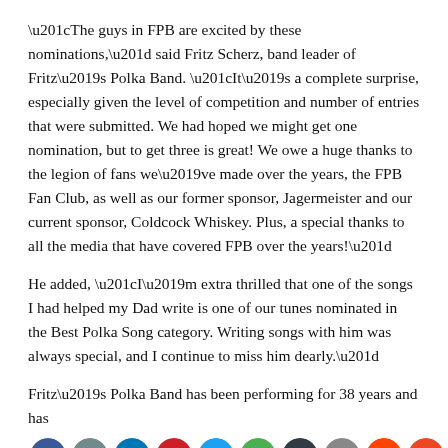“The guys in FPB are excited by these nominations,” said Fritz Scherz, band leader of Fritz’s Polka Band. “It’s a complete surprise, especially given the level of competition and number of entries that were submitted. We had hoped we might get one nomination, but to get three is great! We owe a huge thanks to the legion of fans we’ve made over the years, the FPB Fan Club, as well as our former sponsor, Jagermeister and our current sponsor, Coldcock Whiskey. Plus, a special thanks to all the media that have covered FPB over the years!”
He added, “I’m extra thrilled that one of the songs I had helped my Dad write is one of our tunes nominated in the Best Polka Song category. Writing songs with him was always special, and I continue to miss him dearly.”
Fritz’s Polka Band has been performing for 38 years and has
[Figure (infographic): Row of social media sharing icons: Facebook (blue), Print (gray), LinkedIn (blue), Pinterest (red), Twitter (blue), Email (green), Buffer (dark), Digg (gray), Reddit (orange-red), StumbleUpon (orange), Yummly (red)]